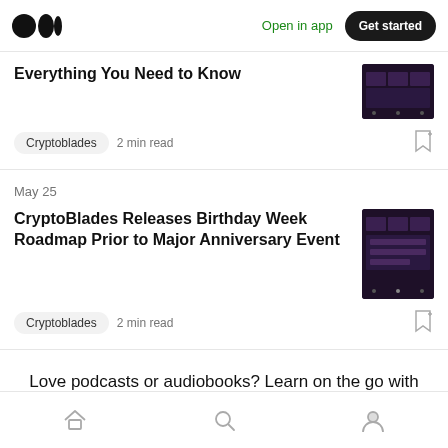Medium logo | Open in app | Get started
Everything You Need to Know
Cryptoblades  2 min read
May 25
CryptoBlades Releases Birthday Week Roadmap Prior to Major Anniversary Event
Cryptoblades  2 min read
Love podcasts or audiobooks? Learn on the go with our new app.
Home | Search | Profile